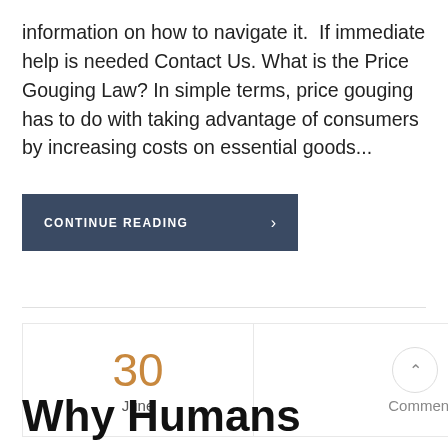information on how to navigate it.  If immediate help is needed Contact Us. What is the Price Gouging Law? In simple terms, price gouging has to do with taking advantage of consumers by increasing costs on essential goods...
CONTINUE READING ›
| Date | Comments |
| --- | --- |
| 30 June | 0 Comments |
Why Humans